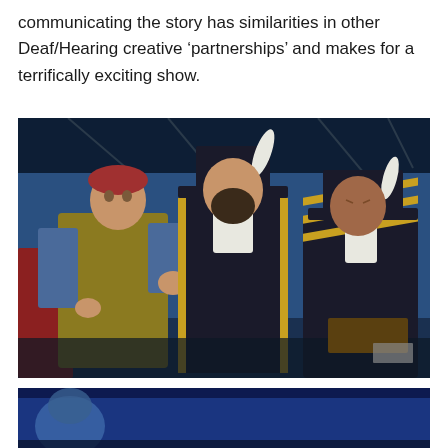communicating the story has similarities in other Deaf/Hearing creative ‘partnerships’ and makes for a terrifically exciting show.
[Figure (photo): Three male actors in period pirate/naval costumes on a theatrical stage. Left actor wears a red headscarf and gold/olive vest, gesturing with hands. Centre actor wears a tall black naval hat and dark navy coat with gold trim. Right actor wears a similar naval uniform with gold chevron patterns. Blue theatrical backdrop behind them.]
[Figure (photo): Partial view of another theatrical scene, showing blue stage backdrop, partially cropped at bottom of page.]